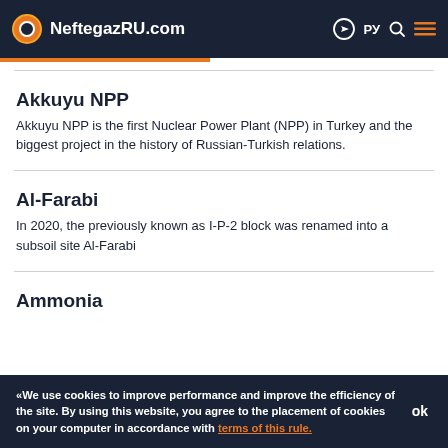NeftegazRU.com
Akkuyu NPP
Akkuyu NPP is the first Nuclear Power Plant (NPP) in Turkey and the biggest project in the history of Russian-Turkish relations.
Al-Farabi
In 2020, the previously known as I-P-2 block was renamed into a subsoil site Al-Farabi
Ammonia
«We use cookies to improve performance and improve the efficiency of the site. By using this website, you agree to the placement of cookies on your computer in accordance with terms of this rule.